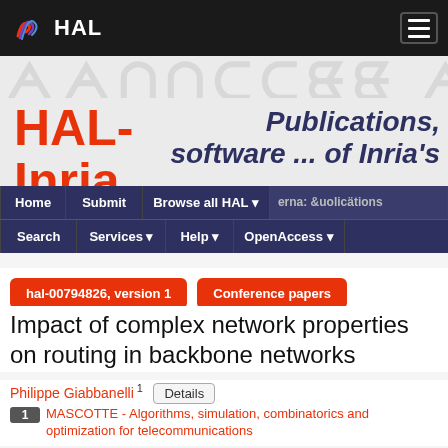[Figure (logo): HAL logo with colorful wave icon and white HAL text on dark background]
[Figure (screenshot): Watermark/background text showing large faded letters]
HAL-Inria   Publications, software ... of Inria's
Home | Submit | Browse all HAL | ...publications | Search | Services | Help | OpenAccess
hal-00794826, version 1   Conference papers
Impact of complex network properties on routing in backbone networks
Philippe Giabbanelli 1   Details
1 MASCOTTE - Algorithms, simulation, combinatorics and optimization for telecommunications